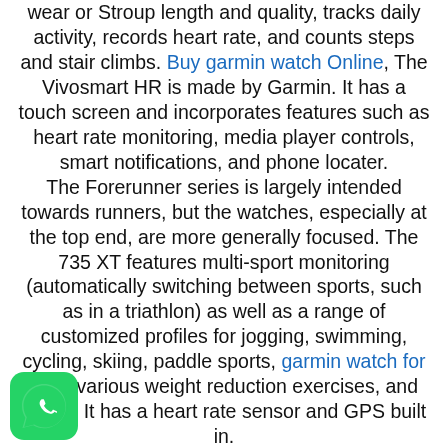wear or Stroup length and quality, tracks daily activity, records heart rate, and counts steps and stair climbs. Buy garmin watch Online, The Vivosmart HR is made by Garmin. It has a touch screen and incorporates features such as heart rate monitoring, media player controls, smart notifications, and phone locater. The Forerunner series is largely intended towards runners, but the watches, especially at the top end, are more generally focused. The 735 XT features multi-sport monitoring (automatically switching between sports, such as in a triathlon) as well as a range of customized profiles for jogging, swimming, cycling, skiing, paddle sports, garmin watch for sale, various weight reduction exercises, and hiking. It has a heart rate sensor and GPS built in. Fenix range, which includes the Fenix 6, which announced in August 2019, is a more durable,
[Figure (logo): WhatsApp green rounded square icon with phone handset symbol]